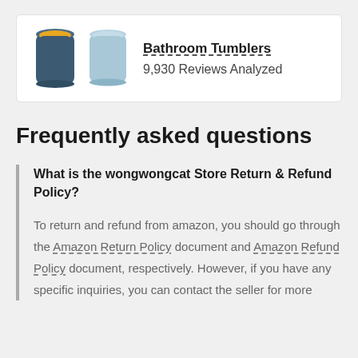[Figure (illustration): Two bathroom tumblers: one dark blue/navy with yellow interior on the left, one light blue/teal on the right]
Bathroom Tumblers
9,930 Reviews Analyzed
Frequently asked questions
What is the wongwongcat Store Return & Refund Policy?
To return and refund from amazon, you should go through the Amazon Return Policy document and Amazon Refund Policy document, respectively. However, if you have any specific inquiries, you can contact the seller for more